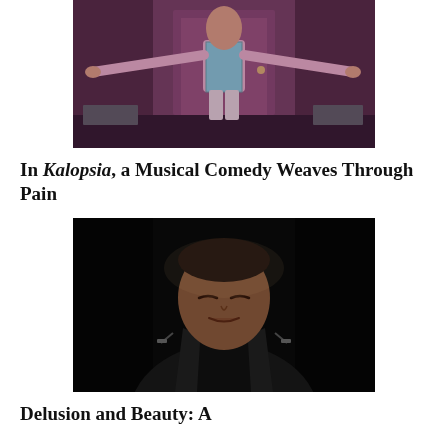[Figure (photo): A performer on stage with arms outstretched, wearing a colorful vest over a pink shirt, in front of a door backdrop with purple lighting.]
In Kalopsia, a Musical Comedy Weaves Through Pain
[Figure (photo): A person with eyes closed, wearing a black leather jacket with the letter A on it, against a dark background.]
Delusion and Beauty: A